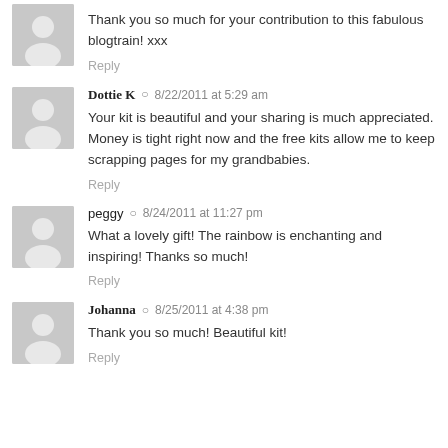Thank you so much for your contribution to this fabulous blogtrain! xxx
Reply
Dottie K  8/22/2011 at 5:29 am
Your kit is beautiful and your sharing is much appreciated. Money is tight right now and the free kits allow me to keep scrapping pages for my grandbabies.
Reply
peggy  8/24/2011 at 11:27 pm
What a lovely gift! The rainbow is enchanting and inspiring! Thanks so much!
Reply
Johanna  8/25/2011 at 4:38 pm
Thank you so much! Beautiful kit!
Reply